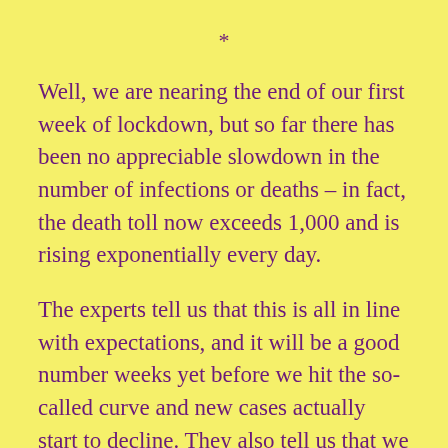*
Well, we are nearing the end of our first week of lockdown, but so far there has been no appreciable slowdown in the number of infections or deaths – in fact, the death toll now exceeds 1,000 and is rising exponentially every day.
The experts tell us that this is all in line with expectations, and it will be a good number weeks yet before we hit the so-called curve and new cases actually start to decline. They also tell us that we will be lucky if the death toll doesn't exceed 20,000. Well, there's a sobering